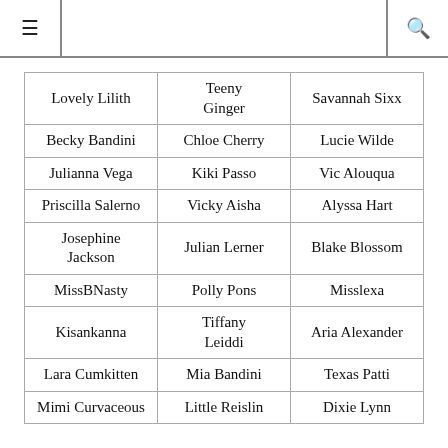| Lovely Lilith | Teeny Ginger | Savannah Sixx |
| Becky Bandini | Chloe Cherry | Lucie Wilde |
| Julianna Vega | Kiki Passo | Vic Alouqua |
| Priscilla Salerno | Vicky Aisha | Alyssa Hart |
| Josephine Jackson | Julian Lerner | Blake Blossom |
| MissBNasty | Polly Pons | Misslexa |
| Kisankanna | Tiffany Leiddi | Aria Alexander |
| Lara Cumkitten | Mia Bandini | Texas Patti |
| Mimi Curvaceous | Little Reislin | Dixie Lynn |